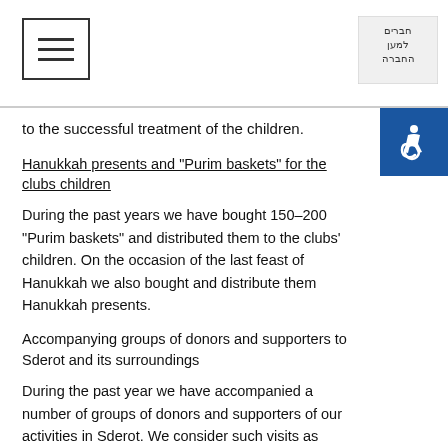[Navigation menu with hamburger icon and organization logo]
to the successful treatment of the children.
Hanukkah presents and "Purim baskets" for the clubs children
During the past years we have bought 150-200 "Purim baskets" and distributed them to the clubs' children. On the occasion of the last feast of Hanukkah we also bought and distribute them Hanukkah presents.
Accompanying groups of donors and supporters to Sderot and its surroundings
During the past year we have accompanied a number of groups of donors and supporters of our activities in Sderot. We consider such visits as highly important and as an appropriate occasion to thank them for their contribution and support.